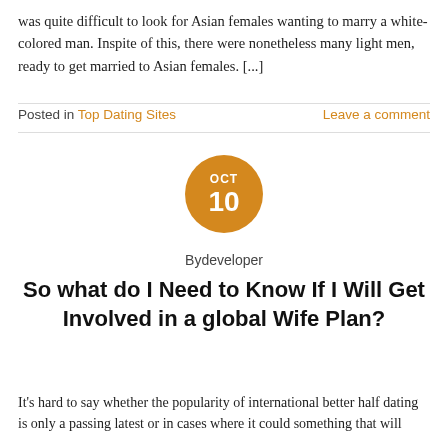was quite difficult to look for Asian females wanting to marry a white-colored man. Inspite of this, there were nonetheless many light men, ready to get married to Asian females. [...]
Posted in Top Dating Sites   Leave a comment
OCT 10
Bydeveloper
So what do I Need to Know If I Will Get Involved in a global Wife Plan?
It's hard to say whether the popularity of international better half dating is only a passing latest or in cases where it could something that will